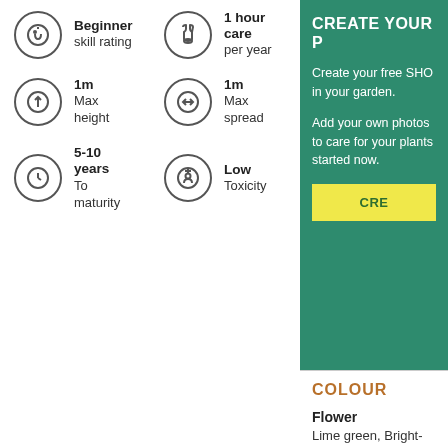Beginner skill rating
1 hour care per year
1m Max height
1m Max spread
5-10 years To maturity
Low Toxicity
CREATE YOUR P
Create your free SHO in your garden.
Add your own photos to care for your plants started now.
CRE
COLOUR
Flower
Lime green, Bright-pink in
Foliage
Dark-green in Spring; Dark
HOW TO CARE